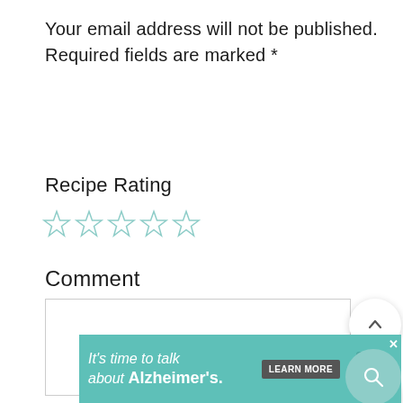Your email address will not be published. Required fields are marked *
Recipe Rating
[Figure (other): Five empty/outline star rating icons in teal/mint color]
Comment
[Figure (other): Comment text area input box (empty), with sidebar UI elements: up arrow button, 1,580 count, heart button, and teal search button]
[Figure (other): Advertisement banner: teal background, text 'It's time to talk about Alzheimer's.', 'LEARN MORE' button, Alzheimer's Association logo, close button]